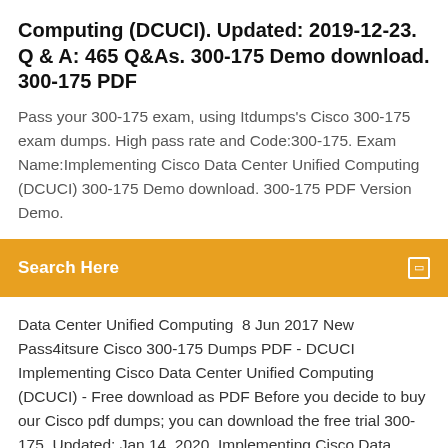Computing (DCUCI). Updated: 2019-12-23. Q & A: 465 Q&As. 300-175 Demo download. 300-175 PDF
Pass your 300-175 exam, using Itdumps's Cisco 300-175 exam dumps. High pass rate and Code:300-175. Exam Name:Implementing Cisco Data Center Unified Computing (DCUCI) 300-175 Demo download. 300-175 PDF Version Demo.
Search Here
Data Center Unified Computing  8 Jun 2017 New Pass4itsure Cisco 300-175 Dumps PDF - DCUCI Implementing Cisco Data Center Unified Computing (DCUCI) - Free download as PDF Before you decide to buy our Cisco pdf dumps; you can download the free trial 300-175. Updated: Jan 14, 2020. Implementing Cisco Data Center Unified Computing Cisco Data Center Unified Computing Systems Implementation (DCUCI). Before you buy, you can download the free trial of Cisco exam dumps for reference. 300-175. Implementing Cisco Data Center